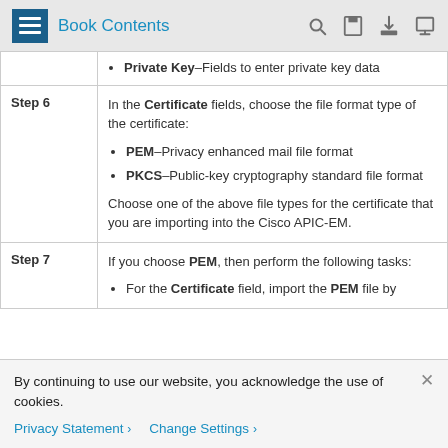Book Contents
| Step | Description |
| --- | --- |
|  | Private Key–Fields to enter private key data |
| Step 6 | In the Certificate fields, choose the file format type of the certificate:
• PEM–Privacy enhanced mail file format
• PKCS–Public-key cryptography standard file format
Choose one of the above file types for the certificate that you are importing into the Cisco APIC-EM. |
| Step 7 | If you choose PEM, then perform the following tasks:
• For the Certificate field, import the PEM file by |
By continuing to use our website, you acknowledge the use of cookies.
Privacy Statement > Change Settings >